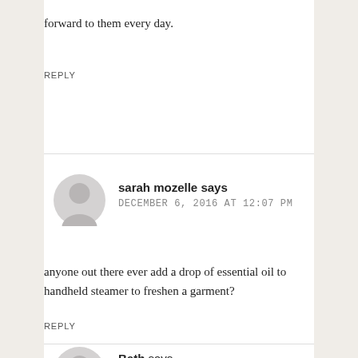forward to them every day.
REPLY
sarah mozelle says
DECEMBER 6, 2016 AT 12:07 PM
anyone out there ever add a drop of essential oil to handheld steamer to freshen a garment?
REPLY
Beth says